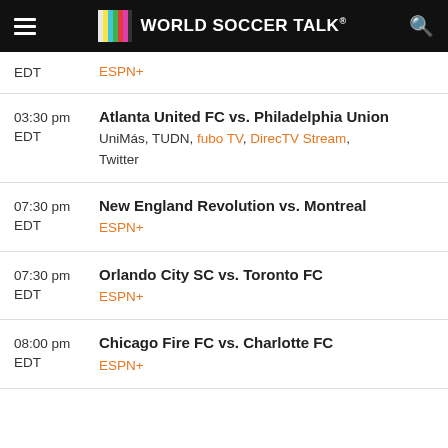World Soccer Talk
EDT ESPN+
03:30 pm EDT — Atlanta United FC vs. Philadelphia Union — UniMás, TUDN, fubo TV, DirecTV Stream, Twitter
07:30 pm EDT — New England Revolution vs. Montreal — ESPN+
07:30 pm EDT — Orlando City SC vs. Toronto FC — ESPN+
08:00 pm EDT — Chicago Fire FC vs. Charlotte FC — ESPN+